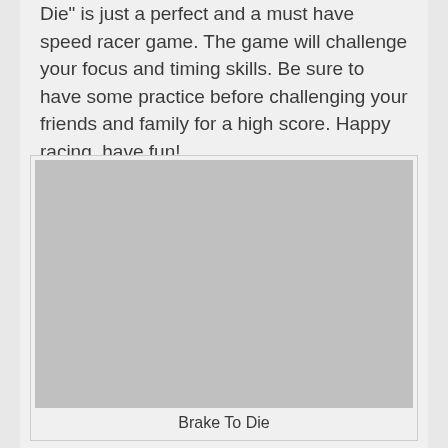Die" is just a perfect and a must have speed racer game. The game will challenge your focus and timing skills. Be sure to have some practice before challenging your friends and family for a high score. Happy racing, have fun!
[Figure (photo): Placeholder grey image for Brake To Die game screenshot]
Brake To Die